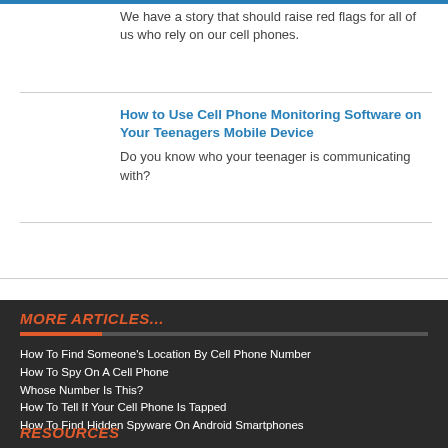We have a story that should raise red flags for all of us who rely on our cell phones.
How to Use Cell Phone Monitoring Software on Your Teenagers Mobile Device
Do you know who your teenager is communicating with?
MORE ARTICLES...
How To Find Someone's Location By Cell Phone Number
How To Spy On A Cell Phone
Whose Number Is This?
How To Tell If Your Cell Phone Is Tapped
How To Find Hidden Spyware On Android Smartphones
RESOURCES